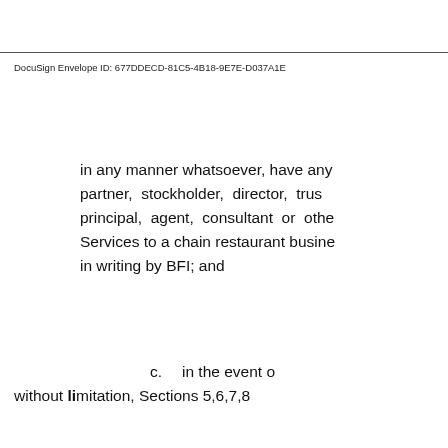DocuSign Envelope ID: 677DDECD-81C5-4B18-9E7E-D037A1E
in any manner whatsoever, have any partner, stockholder, director, trus principal, agent, consultant or othe Services to a chain restaurant busine in writing by BFI; and
c.       in the event o without limitation, Sections 5,6,7,8 ill th f d titi l i ti